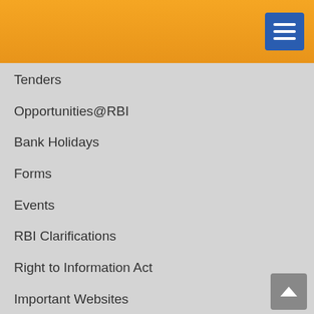[Figure (screenshot): Orange/yellow website header bar with blue hamburger menu button in top right corner]
Tenders
Opportunities@RBI
Bank Holidays
Forms
Events
RBI Clarifications
Right to Information Act
Important Websites
RBI's Core Purpose, Values and Vision
Citizens' Charter
Timelines for Regulatory Approvals
Complaints
Banking Glossary
Contact Us